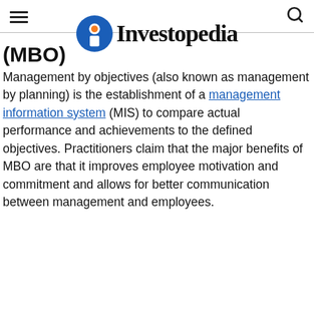[hamburger menu] [search icon]
[Figure (logo): Investopedia logo with orange and blue circular 'i' icon and bold serif text 'Investopedia']
(MBO)
Management by objectives (also known as management by planning) is the establishment of a management information system (MIS) to compare actual performance and achievements to the defined objectives. Practitioners claim that the major benefits of MBO are that it improves employee motivation and commitment and allows for better communication between management and employees.